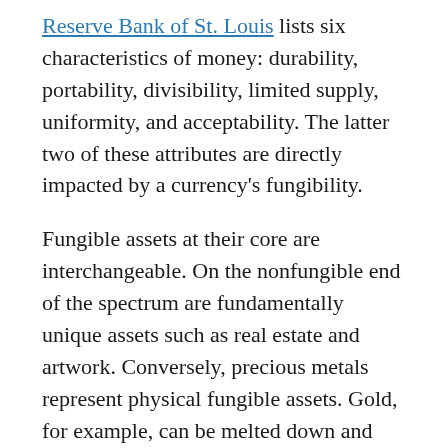Reserve Bank of St. Louis lists six characteristics of money: durability, portability, divisibility, limited supply, uniformity, and acceptability. The latter two of these attributes are directly impacted by a currency's fungibility.
Fungible assets at their core are interchangeable. On the nonfungible end of the spectrum are fundamentally unique assets such as real estate and artwork. Conversely, precious metals represent physical fungible assets. Gold, for example, can be melted down and swapped without complication. As noted by Menger (1892), the adoption of gold and silver as forms of money throughout history can be partially